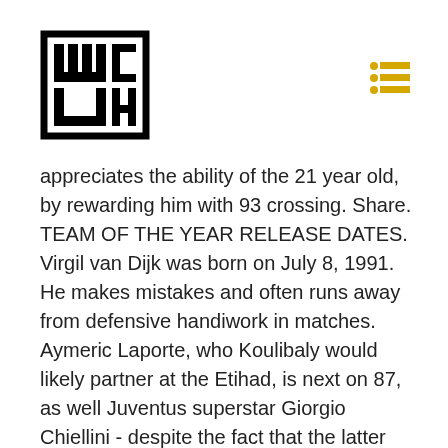Willy Chin logo and navigation
appreciates the ability of the 21 year old, by rewarding him with 93 crossing. Share. TEAM OF THE YEAR RELEASE DATES. Virgil van Dijk was born on July 8, 1991. He makes mistakes and often runs away from defensive handiwork in matches. Aymeric Laporte, who Koulibaly would likely partner at the Etihad, is next on 87, as well Juventus superstar Giorgio Chiellini - despite the fact that the latter missed all-but four matches last season due to injury. Kalidou Koulibaly 18 89 CDM. Virgil van Dijk (born 8 July 1991) is a Dutch footballer who plays as a centre back for British club Liverpool. FIFA 19. FIFA 21 Leagues; Top Leagues. The Team of the Year Event was released for the first ever in FIFA 13. 28 September 2020. That is just one ahead of his Portuguese rival as Juventus' star man clocks in at 92. FIFA 21. VIRGIL VAN DIJK has been named the best defender on Fifa 21, as EA Sports reveal the best centre-backs on the latest edition of the popular football